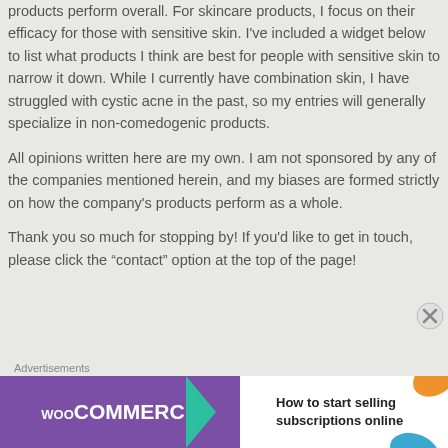products perform overall. For skincare products, I focus on their efficacy for those with sensitive skin. I've included a widget below to list what products I think are best for people with sensitive skin to narrow it down. While I currently have combination skin, I have struggled with cystic acne in the past, so my entries will generally specialize in non-comedogenic products.
All opinions written here are my own. I am not sponsored by any of the companies mentioned herein, and my biases are formed strictly on how the company's products perform as a whole.
Thank you so much for stopping by! If you'd like to get in touch, please click the “contact” option at the top of the page!
Advertisements
[Figure (other): WooCommerce advertisement banner: purple left panel with WooCommerce logo and teal arrow, white right panel with text 'How to start selling subscriptions online' and decorative orange and blue shapes]